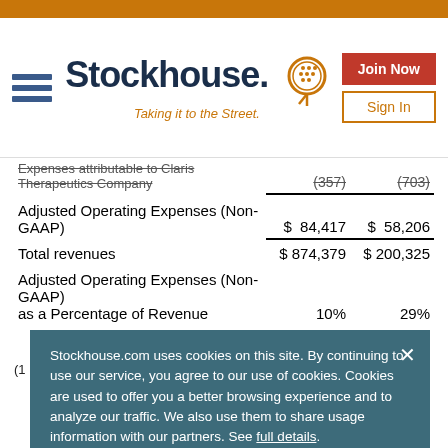[Figure (logo): Stockhouse logo with hamburger menu, Join Now and Sign In buttons]
|  | Col1 | Col2 |
| --- | --- | --- |
| Expenses attributable to Claris Therapeutics Company | (357) | (703) |
| Adjusted Operating Expenses (Non-GAAP) | $ 84,417 | $ 58,206 |
| Total revenues | $ 874,379 | $ 200,325 |
| Adjusted Operating Expenses (Non-GAAP) as a Percentage of Revenue | 10% | 29% |
(1) ... Non-GAAP ... be ... in ... n-